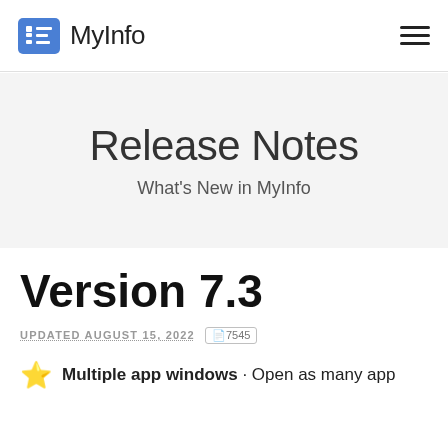MyInfo
Release Notes
What's New in MyInfo
Version 7.3
UPDATED AUGUST 15, 2022  ä7545
Multiple app windows · Open as many app